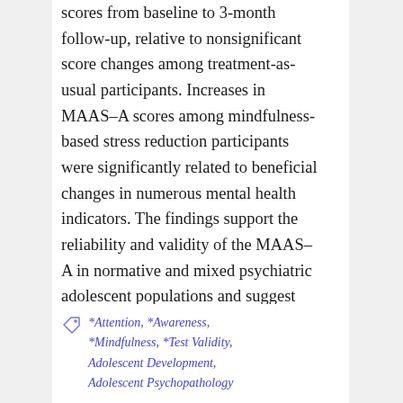scores from baseline to 3-month follow-up, relative to nonsignificant score changes among treatment-as-usual participants. Increases in MAAS–A scores among mindfulness-based stress reduction participants were significantly related to beneficial changes in numerous mental health indicators. The findings support the reliability and validity of the MAAS–A in normative and mixed psychiatric adolescent populations and suggest that the MAAS–A has utility in mindfulness intervention research.
</p>
*Attention, *Awareness, *Mindfulness, *Test Validity, Adolescent Development, Adolescent Psychopathology